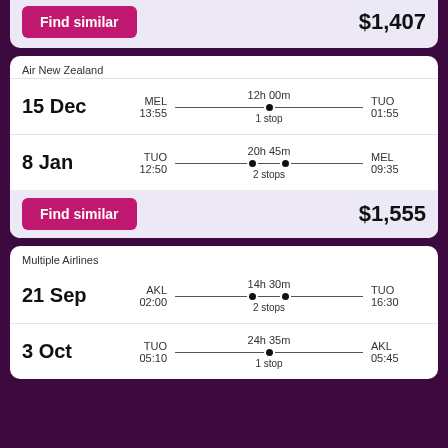Find similar   $1,407
Air New Zealand
15 Dec  MEL 13:55  12h 00m 1 stop  TUO 01:55
8 Jan  TUO 12:50  20h 45m 2 stops  MEL 09:35
Find similar   $1,555
Multiple Airlines
21 Sep  AKL 02:00  14h 30m 2 stops  TUO 16:30
3 Oct  TUO 05:10  24h 35m 1 stop  AKL 05:45